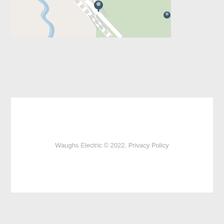[Figure (map): Partial map view showing roads, a blue river/waterway, green park area, and a dark location pin marker]
Waughs Electric © 2022. Privacy Policy